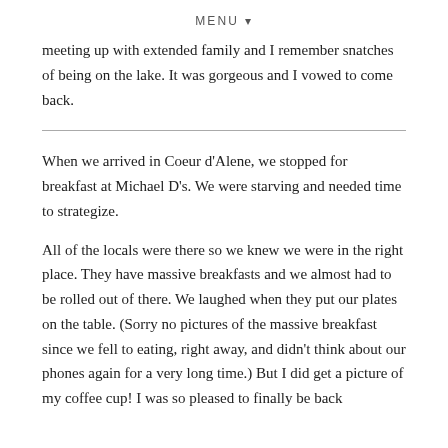MENU ▾
meeting up with extended family and I remember snatches of being on the lake. It was gorgeous and I vowed to come back.
When we arrived in Coeur d'Alene, we stopped for breakfast at Michael D's. We were starving and needed time to strategize.
All of the locals were there so we knew we were in the right place. They have massive breakfasts and we almost had to be rolled out of there. We laughed when they put our plates on the table. (Sorry no pictures of the massive breakfast since we fell to eating, right away, and didn't think about our phones again for a very long time.) But I did get a picture of my coffee cup! I was so pleased to finally be back